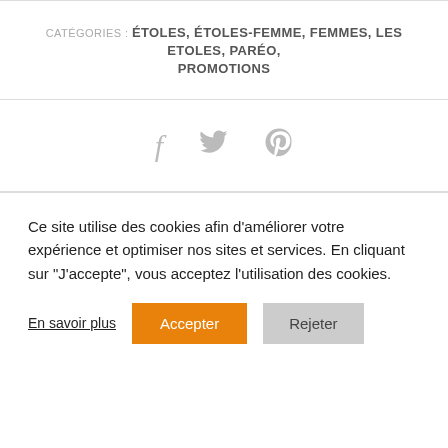CATÉGORIES : ÉTOLES, ÉTOLES-FEMME, FEMMES, LES ETOLES, PARÉO, PROMOTIONS
[Figure (other): Social media share icons: Facebook (f), Twitter (bird), Pinterest (P)]
Ce site utilise des cookies afin d'améliorer votre expérience et optimiser nos sites et services. En cliquant sur "J'accepte", vous acceptez l'utilisation des cookies.
En savoir plus  Accepter  Rejeter